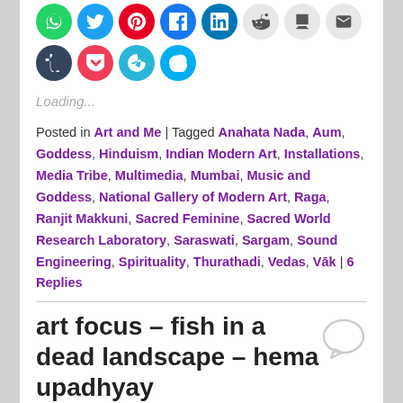[Figure (infographic): Social media sharing icon circles: WhatsApp (green), Twitter (blue), Pinterest (red), Facebook (blue), LinkedIn (blue), Reddit (light gray), Print (light gray), Email (light gray), Tumblr (dark), Pocket (red), Telegram (blue), Skype (blue)]
Loading...
Posted in Art and Me | Tagged Anahata Nada, Aum, Goddess, Hinduism, Indian Modern Art, Installations, Media Tribe, Multimedia, Mumbai, Music and Goddess, National Gallery of Modern Art, Raga, Ranjit Makkuni, Sacred Feminine, Sacred World Research Laboratory, Saraswati, Sargam, Sound Engineering, Spirituality, Thurathadi, Vedas, Vāk | 6 Replies
art focus – fish in a dead landscape – hema upadhyay
Posted on October 24, 2014